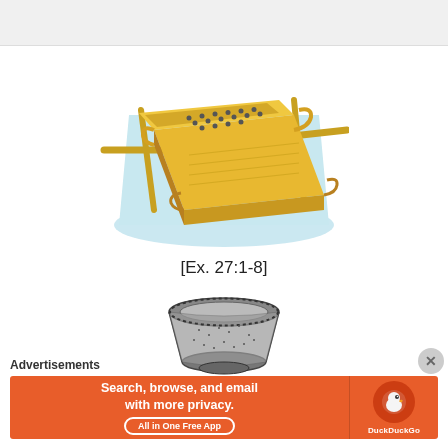[Figure (illustration): Colored illustration of the Altar of Burnt Offering (Exodus 27:1-8) — a large golden/yellow wooden box-like altar with carrying poles through rings on the sides, and a grated top surface with holes, shown in perspective view on a light blue background.]
[Ex. 27:1-8]
[Figure (illustration): Black and white sketch/etching of a rounded basin or laver — a wide bowl-shaped vessel, shown from a slightly elevated angle.]
Advertisements
[Figure (screenshot): DuckDuckGo advertisement banner with orange background. Left side reads 'Search, browse, and email with more privacy. All in One Free App'. Right side shows the DuckDuckGo duck logo icon on an orange circle with 'DuckDuckGo' text below.]